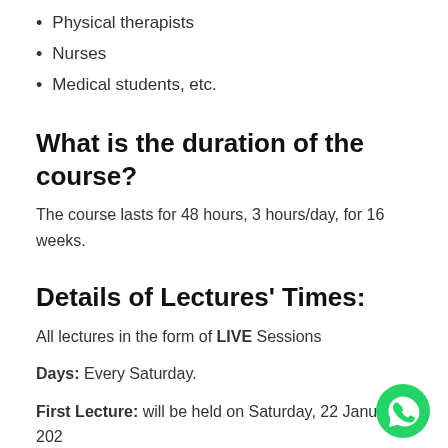Physical therapists
Nurses
Medical students, etc.
What is the duration of the course?
The course lasts for 48 hours, 3 hours/day, for 16 weeks.
Details of Lectures’ Times:
All lectures in the form of LIVE Sessions
Days: Every Saturday.
First Lecture: will be held on Saturday, 22 January 202